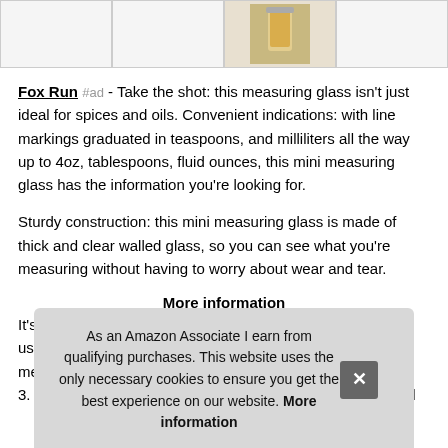[Figure (photo): Row of four product thumbnail images, the third showing a glass measuring cup with yellow liquid, others blank/empty]
Fox Run #ad - Take the shot: this measuring glass isn't just ideal for spices and oils. Convenient indications: with line markings graduated in teaspoons, and milliliters all the way up to 4oz, tablespoons, fluid ounces, this mini measuring glass has the information you're looking for.
Sturdy construction: this mini measuring glass is made of thick and clear walled glass, so you can see what you're measuring without having to worry about wear and tear.
More information
It's a... using... mea... 3. 25 inches. Never miss a measurement: With easy to read
As an Amazon Associate I earn from qualifying purchases. This website uses the only necessary cookies to ensure you get the best experience on our website. More information